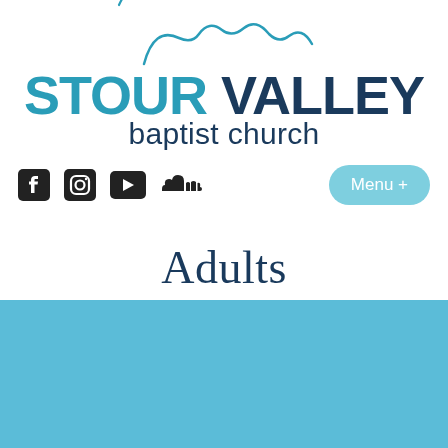[Figure (logo): Stour Valley Baptist Church logo with wavy line silhouette above text. 'STOUR' in teal/blue, 'VALLEY' in dark navy, 'baptist church' in dark navy below.]
[Figure (infographic): Navigation bar with social media icons (Facebook, Instagram, YouTube, SoundCloud) on the left and a teal 'Menu +' rounded button on the right.]
Adults
[Figure (illustration): Solid light blue/teal rectangular block at the bottom of the page.]